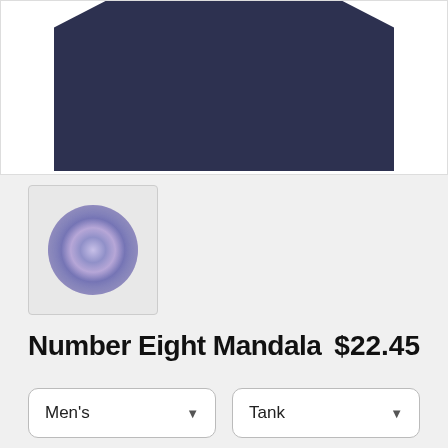[Figure (photo): Dark navy blue tank top shirt displayed on white background]
[Figure (illustration): Thumbnail of Number Eight Mandala design - circular mandala in blue/purple tones]
Number Eight Mandala   $22.45
Men's (dropdown)   Tank (dropdown)
SELECT YOUR FIT
$22.45
Regular
$22.45
Triblend